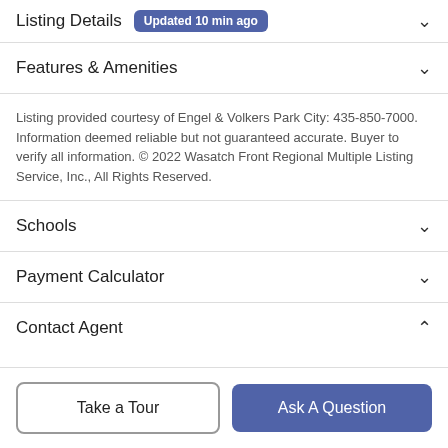Listing Details Updated 10 min ago
Features & Amenities
Listing provided courtesy of Engel & Volkers Park City: 435-850-7000. Information deemed reliable but not guaranteed accurate. Buyer to verify all information. © 2022 Wasatch Front Regional Multiple Listing Service, Inc., All Rights Reserved.
Schools
Payment Calculator
Contact Agent
Take a Tour
Ask A Question